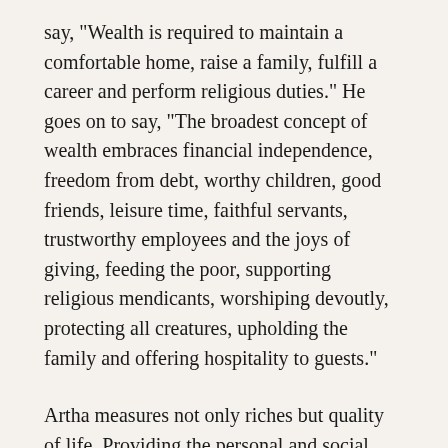say, "Wealth is required to maintain a comfortable home, raise a family, fulfill a career and perform religious duties." He goes on to say, "The broadest concept of wealth embraces financial independence, freedom from debt, worthy children, good friends, leisure time, faithful servants, trustworthy employees and the joys of giving, feeding the poor, supporting religious mendicants, worshiping devoutly, protecting all creatures, upholding the family and offering hospitality to guests."
Artha measures not only riches but quality of life. Providing the personal and social security needed to pursue kama, dharma and moksha, it allows for the fulfillment of the householders five daily sacrifices, panchamahayajna, to God, ancestors, devas, creatures and men.
Kama is earthly love, aesthetic and cultural fulfillment.,